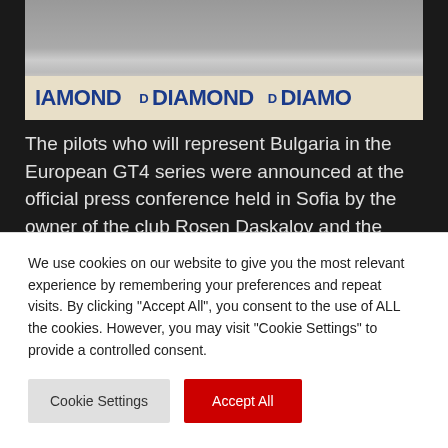[Figure (photo): Press conference photo showing people seated at a table with Diamond brand banners/signage visible in the foreground]
The pilots who will represent Bulgaria in the European GT4 series were announced at the official press conference held in Sofia by the owner of the club Rosen Daskalov and the team manager Vladimir Iliev.
Behind the wheel of the supercar will be Ivailo Tsonev, Miroslav Angelov and Grigor Grigorov.
We use cookies on our website to give you the most relevant experience by remembering your preferences and repeat visits. By clicking "Accept All", you consent to the use of ALL the cookies. However, you may visit "Cookie Settings" to provide a controlled consent.